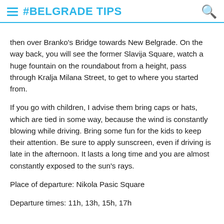#BELGRADE TIPS
then over Branko's Bridge towards New Belgrade. On the way back, you will see the former Slavija Square, watch a huge fountain on the roundabout from a height, pass through Kralja Milana Street, to get to where you started from.
If you go with children, I advise them bring caps or hats, which are tied in some way, because the wind is constantly blowing while driving. Bring some fun for the kids to keep their attention. Be sure to apply sunscreen, even if driving is late in the afternoon. It lasts a long time and you are almost constantly exposed to the sun's rays.
Place of departure: Nikola Pasic Square
Departure times: 11h, 13h, 15h, 17h